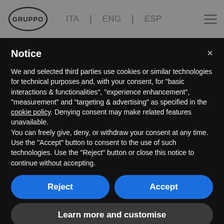[Figure (screenshot): Website navigation bar with GRUPPO logo, language options ITA | ENG | ESP, and hamburger menu icon on grey background]
Notice
We and selected third parties use cookies or similar technologies for technical purposes and, with your consent, for “basic interactions & functionalities”, “experience enhancement”, “measurement” and “targeting & advertising” as specified in the cookie policy. Denying consent may make related features unavailable.
You can freely give, deny, or withdraw your consent at any time.
Use the “Accept” button to consent to the use of such technologies. Use the “Reject” button or close this notice to continue without accepting.
Reject
Accept
Learn more and customise